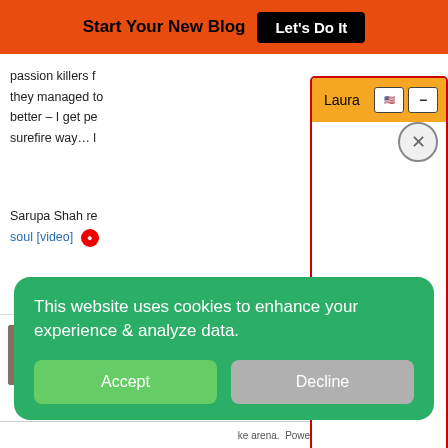Start Your New Blog  Let's Do It
passion killers f... they managed to... better – I get pe... surefire way… l...
Sarupa Shah re... soul [video]
[Figure (screenshot): Laura popup widget with orange header, US flag icon, minimize button, and close X circle button. White content area below.]
[Figure (photo): Author avatar photo of a woman with brown hair]
D... T...
This website uses cookies to enhance your experience & analyze data.
Accept   Decline
Powered By Steady Stream Leads